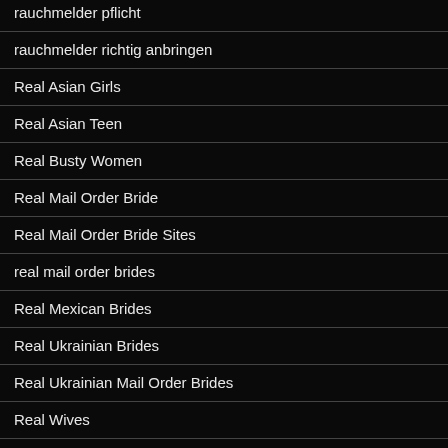rauchmelder pflicht
rauchmelder richtig anbringen
Real Asian Girls
Real Asian Teen
Real Busty Women
Real Mail Order Bride
Real Mail Order Bride Sites
real mail order brides
Real Mexican Brides
Real Ukrainian Brides
Real Ukrainian Mail Order Brides
Real Wives
Red tube